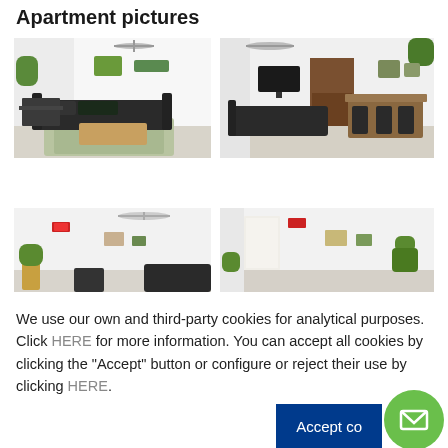Apartment pictures
[Figure (photo): Living room photo top-left: dark L-shaped sofa, tropical patterned rug, wooden coffee table, dining table in background, white walls, potted plants]
[Figure (photo): Living room photo top-right: dark sofa, dining table with chairs, TV on wall, wooden arched door, white walls, hanging plants]
[Figure (photo): Apartment interior photo bottom-left: wide angle view, white room, ceiling fan, partial sofa visible]
[Figure (photo): Apartment interior photo bottom-right: wide angle view, white room, exit sign, wall art]
We use our own and third-party cookies for analytical purposes. Click HERE for more information. You can accept all cookies by clicking the "Accept" button or configure or reject their use by clicking HERE.